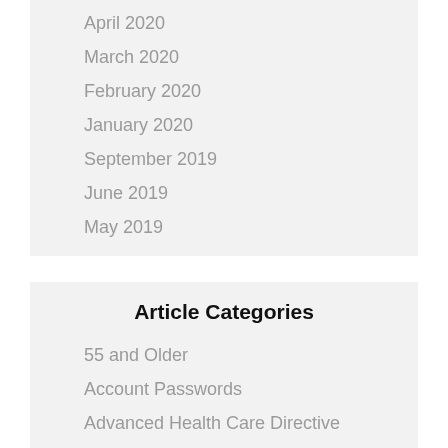April 2020
March 2020
February 2020
January 2020
September 2019
June 2019
May 2019
Article Categories
55 and Older
Account Passwords
Advanced Health Care Directive
AHCD
Beneficiaries